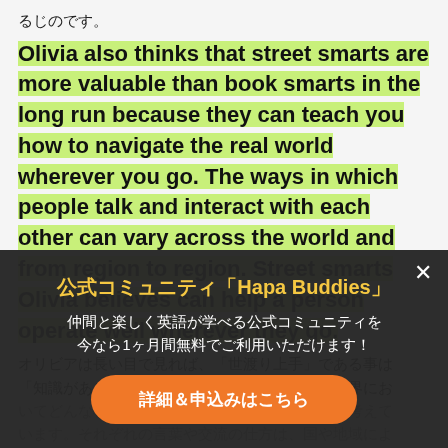るじのです。
Olivia also thinks that street smarts are more valuable than book smarts in the long run because they can teach you how to navigate the real world wherever you go. The ways in which people talk and interact with each other can vary across the world and from region to region. Street smarts Olivia believes can help a person operate well wherever they go.
オリビアは長い目で見れば、「世渡り上手」である事は「知識がある」ことより遥かに価値があり、実世界においてどんな状況でも切り抜ける方法が身につくと考えています。それぞれの言葉や交流の仕方は、国や地域によっても異なります。オリビアは、「世渡り力」はどこに行ってもうまく活動できるために役立つと思っています。
公式コミュニティ「Hapa Buddies」
仲間と楽しく英語が学べる公式コミュニティを
今なら1ヶ月間無料でご利用いただけます！
詳細＆申込みはこちら